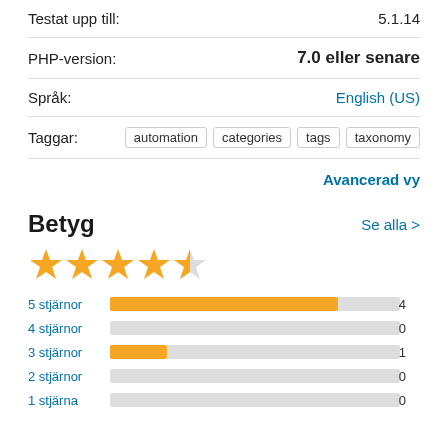Testat upp till: 5.1.14
PHP-version: 7.0 eller senare
Språk: English (US)
Taggar: automation categories tags taxonomy
Avancerad vy
Betyg
Se alla >
[Figure (other): 4.5 out of 5 stars rating display with 4 filled stars and 1 half star in gold/orange color]
[Figure (bar-chart): Rating distribution]